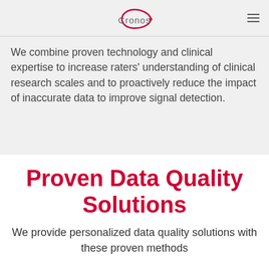Cronos
We combine proven technology and clinical expertise to increase raters' understanding of clinical research scales and to proactively reduce the impact of inaccurate data to improve signal detection.
Proven Data Quality Solutions
We provide personalized data quality solutions with these proven methods